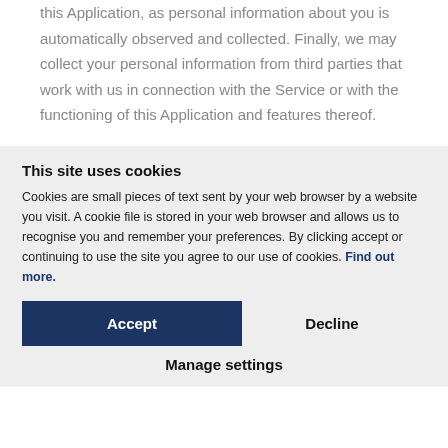this Application, as personal information about you is automatically observed and collected. Finally, we may collect your personal information from third parties that work with us in connection with the Service or with the functioning of this Application and features thereof.
This site uses cookies
Cookies are small pieces of text sent by your web browser by a website you visit. A cookie file is stored in your web browser and allows us to recognise you and remember your preferences. By clicking accept or continuing to use the site you agree to our use of cookies. Find out more.
Accept
Decline
Manage settings